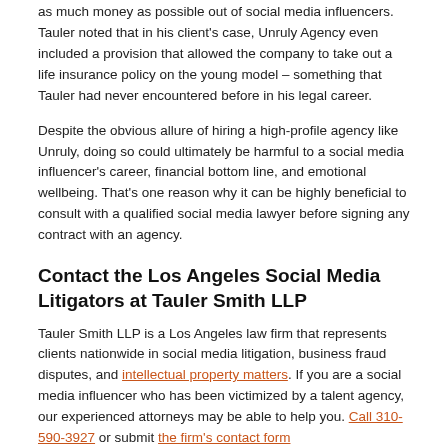as much money as possible out of social media influencers. Tauler noted that in his client's case, Unruly Agency even included a provision that allowed the company to take out a life insurance policy on the young model – something that Tauler had never encountered before in his legal career.
Despite the obvious allure of hiring a high-profile agency like Unruly, doing so could ultimately be harmful to a social media influencer's career, financial bottom line, and emotional wellbeing. That's one reason why it can be highly beneficial to consult with a qualified social media lawyer before signing any contract with an agency.
Contact the Los Angeles Social Media Litigators at Tauler Smith LLP
Tauler Smith LLP is a Los Angeles law firm that represents clients nationwide in social media litigation, business fraud disputes, and intellectual property matters. If you are a social media influencer who has been victimized by a talent agency, our experienced attorneys may be able to help you. Call 310-590-3927 or submit the firm's contact form